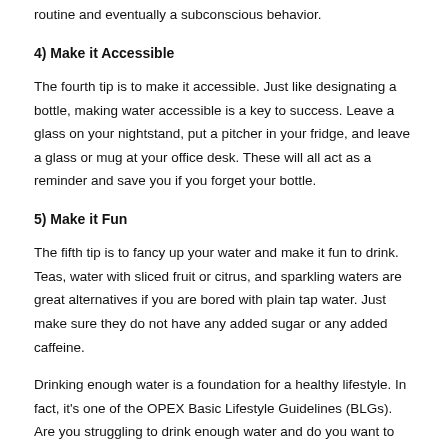routine and eventually a subconscious behavior.
4) Make it Accessible
The fourth tip is to make it accessible. Just like designating a bottle, making water accessible is a key to success. Leave a glass on your nightstand, put a pitcher in your fridge, and leave a glass or mug at your office desk. These will all act as a reminder and save you if you forget your bottle.
5) Make it Fun
The fifth tip is to fancy up your water and make it fun to drink. Teas, water with sliced fruit or citrus, and sparkling waters are great alternatives if you are bored with plain tap water. Just make sure they do not have any added sugar or any added caffeine.
Drinking enough water is a foundation for a healthy lifestyle. In fact, it's one of the OPEX Basic Lifestyle Guidelines (BLGs). Are you struggling to drink enough water and do you want to cultivate a healthier lifestyle? Find an